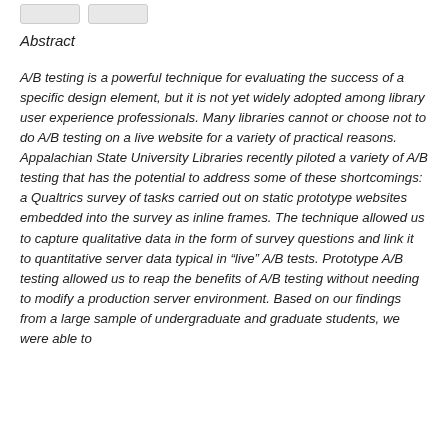[Figure (other): Two small grey rounded-rectangle buttons at the top of the page]
Abstract
A/B testing is a powerful technique for evaluating the success of a specific design element, but it is not yet widely adopted among library user experience professionals. Many libraries cannot or choose not to do A/B testing on a live website for a variety of practical reasons. Appalachian State University Libraries recently piloted a variety of A/B testing that has the potential to address some of these shortcomings: a Qualtrics survey of tasks carried out on static prototype websites embedded into the survey as inline frames. The technique allowed us to capture qualitative data in the form of survey questions and link it to quantitative server data typical in “live” A/B tests. Prototype A/B testing allowed us to reap the benefits of A/B testing without needing to modify a production server environment. Based on our findings from a large sample of undergraduate and graduate students, we were able to